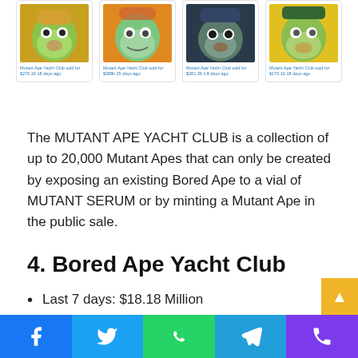[Figure (photo): Four NFT cards showing Mutant Ape Yacht Club illustrations with small caption links below each image. Cards show colorful mutant ape characters on various colored backgrounds.]
The MUTANT APE YACHT CLUB is a collection of up to 20,000 Mutant Apes that can only be created by exposing an existing Bored Ape to a vial of MUTANT SERUM or by minting a Mutant Ape in the public sale.
4. Bored Ape Yacht Club
Last 7 days: $18.18 Million
Number of Sales: 47